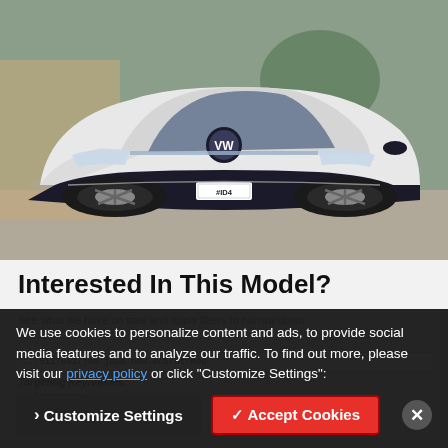[Figure (photo): White Volkswagen ID.4 electric SUV photographed from the front in a desert/driveway setting. License plate reads #ID4.]
Interested In This Model?
We use cookies to personalize content and ads, to provide social media features and to analyze our traffic. To find out more, please visit our privacy policy or click "Customize Settings".
See what we have on sale and apply filters to narrow down
Targeting Key/Values:
browser = ...
fuel = hybr...
mak = volkswagen